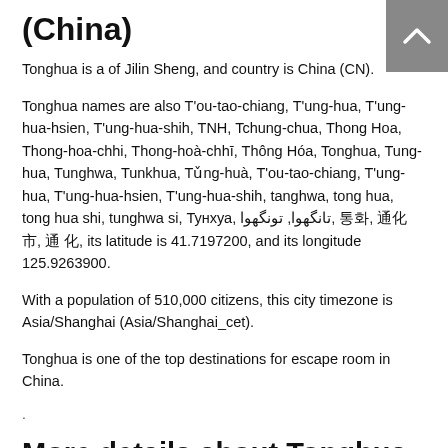(China)
Tonghua is a of Jilin Sheng, and country is China (CN).
Tonghua names are also T'ou-tao-chiang, T'ung-hua, T'ung-hua-hsien, T'ung-hua-shih, TNH, Tchung-chua, Thong Hoa, Thong-hoa-chhi, Thong-hoà-chhī, Thông Hóa, Tonghua, Tung-hua, Tunghwa, Tunkhua, Tǔng-huà, T'ou-tao-chiang, T'ung-hua, T'ung-hua-hsien, T'ung-hua-shih, tanghwa, tong hua, tong hua shi, tunghwa si, Тунхуа, تانگهوا, تونگهوا, 통화, 通化市, 通 化, its latitude is 41.7197200, and its longitude 125.9263900.
With a population of 510,000 citizens, this city timezone is Asia/Shanghai (Asia/Shanghai_cet).
Tonghua is one of the top destinations for escape room in China.
.
More details about Tonghua in